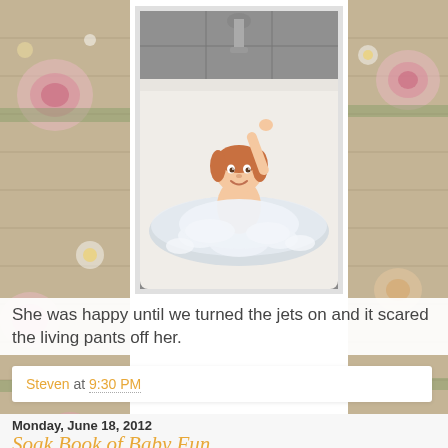[Figure (photo): Young toddler with red/blonde hair sitting in a large white jetted bathtub filled with foam/bubbles, arm raised, smiling at camera. Bathtub faucet and gray tile wall visible in background.]
She was happy until we turned the jets on and it scared the living pants off her.
Steven at 9:30 PM
Monday, June 18, 2012
Soak Book of Baby Fun